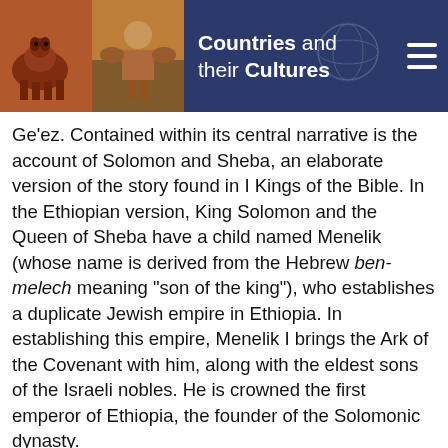Countries and their Cultures
Ge'ez. Contained within its central narrative is the account of Solomon and Sheba, an elaborate version of the story found in I Kings of the Bible. In the Ethiopian version, King Solomon and the Queen of Sheba have a child named Menelik (whose name is derived from the Hebrew ben-melech meaning "son of the king"), who establishes a duplicate Jewish empire in Ethiopia. In establishing this empire, Menelik I brings the Ark of the Covenant with him, along with the eldest sons of the Israeli nobles. He is crowned the first emperor of Ethiopia, the founder of the Solomonic dynasty.
From this epic, a national identity emerged as God's new chosen people, heir to the Jews. The Solomonic emperors are descended from Solomon, and the Ethiopian people are the descendants of the sons of the Israeli nobles. The descent from Solomon was so essential to the nationalistic tradition and monarchical domination that Haile Selassie incorporated it into the country's first constitution in 1931, exempting the